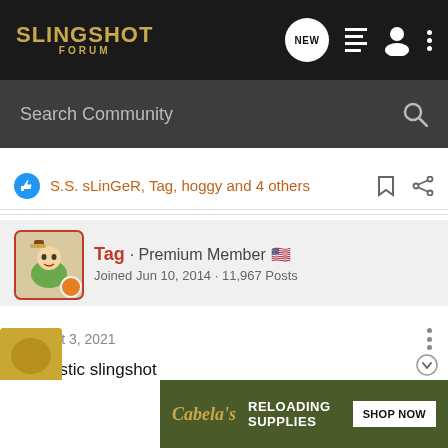SLINGSHOT FORUM
Search Community
S.S. sLinGeR, Tag, hoggy and 4 others
Tag · Premium Member 🇺🇸
Joined Jun 10, 2014 · 11,967 Posts
#8 · Oct 3, 2021
Fantastic slingshot
Cabela's RELOADING SUPPLIES SHOP NOW